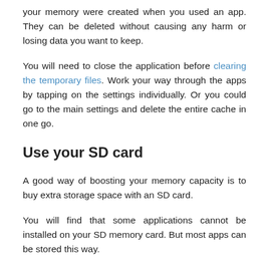your memory were created when you used an app. They can be deleted without causing any harm or losing data you want to keep.
You will need to close the application before clearing the temporary files. Work your way through the apps by tapping on the settings individually. Or you could go to the main settings and delete the entire cache in one go.
Use your SD card
A good way of boosting your memory capacity is to buy extra storage space with an SD card.
You will find that some applications cannot be installed on your SD memory card. But most apps can be stored this way.